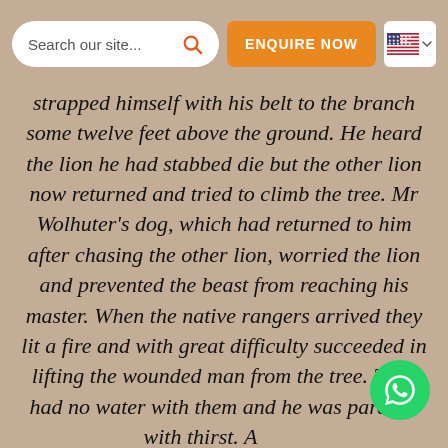Search our site... [search icon] ENQUIRE NOW [US flag]
strapped himself with his belt to the branch some twelve feet above the ground. He heard the lion he had stabbed die but the other lion now returned and tried to climb the tree. Mr Wolhuter's dog, which had returned to him after chasing the other lion, worried the lion and prevented the beast from reaching his master. When the native rangers arrived they lit a fire and with great difficulty succeeded in lifting the wounded man from the tree. They had no water with them and he was parched with thirst. After a desperate and vain trek to the nearest water, some dirty water was finally found by one of the